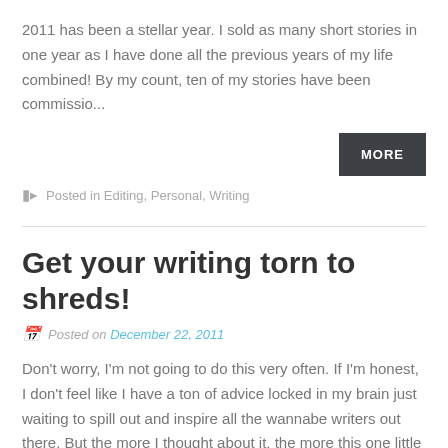2011 has been a stellar year. I sold as many short stories in one year as I have done all the previous years of my life combined! By my count, ten of my stories have been commissio...
MORE
Posted in Editing, Personal, Writing
Get your writing torn to shreds!
Posted on December 22, 2011
Don't worry, I'm not going to do this very often. If I'm honest, I don't feel like I have a ton of advice locked in my brain just waiting to spill out and inspire all the wannabe writers out there. But the more I thought about it, the more this one little